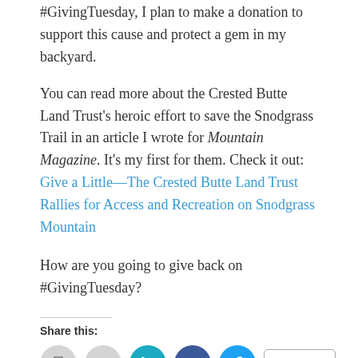#GivingTuesday, I plan to make a donation to support this cause and protect a gem in my backyard.
You can read more about the Crested Butte Land Trust's heroic effort to save the Snodgrass Trail in an article I wrote for Mountain Magazine. It's my first for them. Check it out: Give a Little—The Crested Butte Land Trust Rallies for Access and Recreation on Snodgrass Mountain
How are you going to give back on #GivingTuesday?
Share this:
[Figure (infographic): Social share buttons: print, email, LinkedIn, Facebook, Twitter, and a More button]
[Figure (infographic): Like button with star icon and a row of circular avatar profile photos]